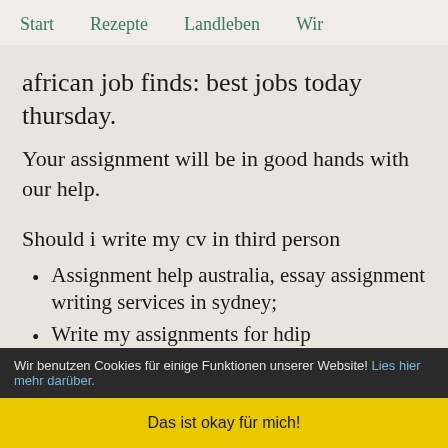Start   Rezepte   Landleben   Wir
african job finds: best jobs today thursday.
Your assignment will be in good hands with our help.
Should i write my cv in third person
Assignment help australia, essay assignment writing services in sydney;
Write my assignments for hdip
Wir benutzen Cookies für einige Funktionen unserer Website! Lies hier mehr darüber. Das ist okay für mich!